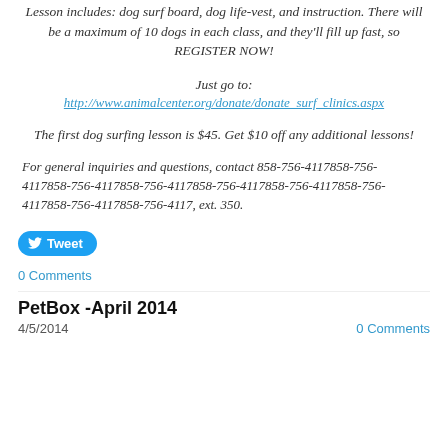Lesson includes: dog surf board, dog life-vest, and instruction. There will be a maximum of 10 dogs in each class, and they'll fill up fast, so REGISTER NOW!
Just go to:
http://www.animalcenter.org/donate/donate_surf_clinics.aspx
The first dog surfing lesson is $45. Get $10 off any additional lessons!
For general inquiries and questions, contact 858-756-4117858-756-4117858-756-4117858-756-4117858-756-4117858-756-4117858-756-4117858-756-4117858-756-4117, ext. 350.
[Figure (other): Tweet button (blue rounded rectangle with Twitter bird icon and 'Tweet' text)]
0 Comments
PetBox -April 2014
4/5/2014
0 Comments